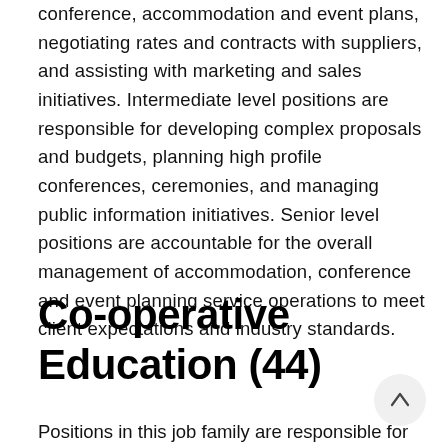conference, accommodation and event plans, negotiating rates and contracts with suppliers, and assisting with marketing and sales initiatives. Intermediate level positions are responsible for developing complex proposals and budgets, planning high profile conferences, ceremonies, and managing public information initiatives. Senior level positions are accountable for the overall management of accommodation, conference and event planning service operations to meet client expectations and industry standards.
Co-operative Education (44)
Positions in this job family are responsible for providing